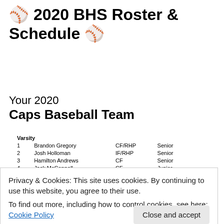⚾ 2020 BHS Roster & Schedule ⚾
Your 2020
Caps Baseball Team
|  | Name | Position | Year |
| --- | --- | --- | --- |
| Varsity |  |  |  |
| 1 | Brandon Gregory | CF/RHP | Senior |
| 2 | Josh Holloman | IF/RHP | Senior |
| 3 | Hamilton Andrews | CF | Senior |
| 4 | Jack McConnell | CF | Junior |
| 5 | Davis Clemmons | CF | Senior |
| 6 | Que Robinson | CF | Senior |
| 7 | Nic Edward | IF | Sophomore |
| 8 | Will Felton | IF/RHP | Junior |
| 9 | Walker Marsh | RHP/OF | Junior |
| 10 | Ben Gilbert | IF/RHP | Junior |
| 11 | Chris Gruekin | RHP/IF | Junior |
| 12 | Sanjay Lindsay | RHP | Junior |
| 13 | Worth Warner | CF/RHP | Senior |
Privacy & Cookies: This site uses cookies. By continuing to use this website, you agree to their use. To find out more, including how to control cookies, see here: Cookie Policy
|  | Name | Position | Year |
| --- | --- | --- | --- |
|  | Brad Noble | IF/RHP | Sophomore |
| 9 | Wes Kornely | RHP/IF | Sophomore |